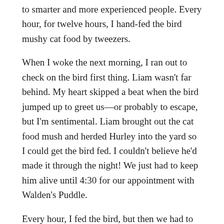to smarter and more experienced people. Every hour, for twelve hours, I hand-fed the bird mushy cat food by tweezers.
When I woke the next morning, I ran out to check on the bird first thing. Liam wasn't far behind. My heart skipped a beat when the bird jumped up to greet us—or probably to escape, but I'm sentimental. Liam brought out the cat food mush and herded Hurley into the yard so I could get the bird fed. I couldn't believe he'd made it through the night! We just had to keep him alive until 4:30 for our appointment with Walden's Puddle.
Every hour, I fed the bird, but then we had to leave him alone for a bit. We timed our trip to the wildlife sanctuary perfectly. When I rushed through the house to grab the cooler for our trip, I was so excited that we'd saved this bird. Until I reached the cooler and found that